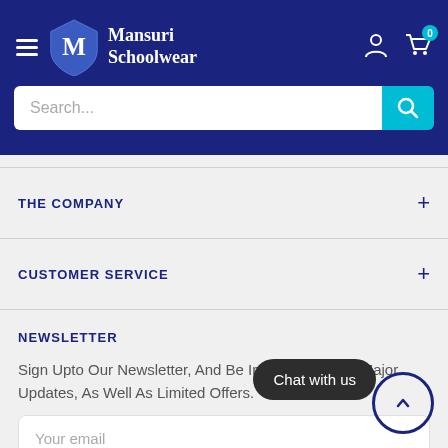Mansuri Schoolwear
THE COMPANY
CUSTOMER SERVICE
NEWSLETTER
Sign Upto Our Newsletter, And Be Informed Of Any Major Updates, As Well As Limited Offers.
Your email
Chat with us